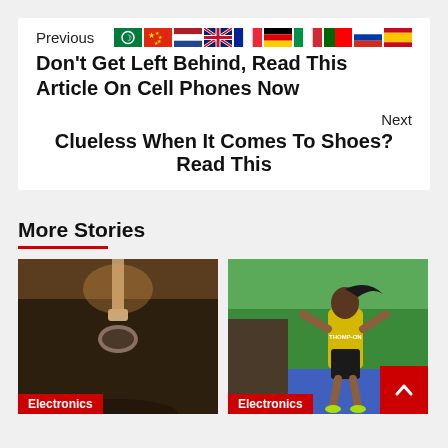Previous
Don't Get Left Behind, Read This Article On Cell Phones Now
Next
Clueless When It Comes To Shoes? Read This
More Stories
[Figure (photo): Security camera mounted on ceiling in warm brown light]
Electronics
[Figure (photo): Female athlete celebrating at track race finish, wearing Jamaica uniform]
Electronics